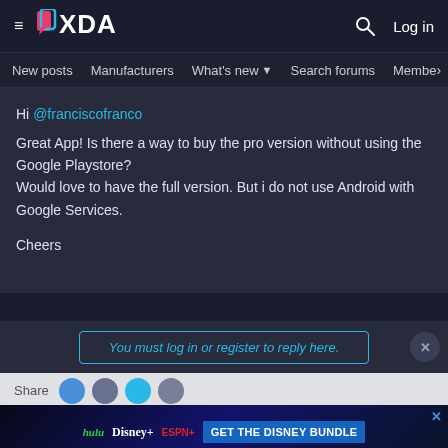XDA — Navigation bar with hamburger menu, XDA logo, search icon, Log in
New posts  Manufacturers  What's new  Search forums  Membe  >
Hi @franciscofranco
Great App! Is there a way to buy the pro version without using the Google Playstore?
Would love to have the full version. But i do not use Android with Google Services.

Cheers
You must log in or register to reply here.
Share
[Figure (screenshot): Disney Bundle advertisement banner with Hulu, Disney+, and ESPN+ logos, GET THE DISNEY BUNDLE CTA button, and fine print about Hulu subscription options.]
Similar threads